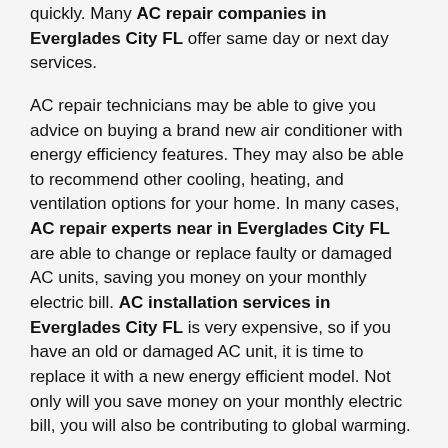quickly. Many AC repair companies in Everglades City FL offer same day or next day services.
AC repair technicians may be able to give you advice on buying a brand new air conditioner with energy efficiency features. They may also be able to recommend other cooling, heating, and ventilation options for your home. In many cases, AC repair experts near in Everglades City FL are able to change or replace faulty or damaged AC units, saving you money on your monthly electric bill. AC installation services in Everglades City FL is very expensive, so if you have an old or damaged AC unit, it is time to replace it with a new energy efficient model. Not only will you save money on your monthly electric bill, you will also be contributing to global warming.